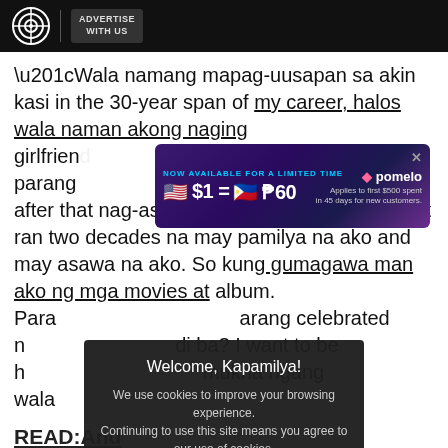ABS-CBN | ADVERTISE WITH US
“Wala namang mapag-uusapan sa akin kasi in the 30-year span of my career, halos wala naman akong naging girlfriend at parang [obscured by ad] ganun. Then after that nag-asawa na ako around 2000. So it ran two decades na may pamilya na ako and may asawa na ako. So kung gumagawa man ako ng mga movies at album. Para[ng] [obscured] parang celebrated [obscured] di ba? I want to be h[appy] [obscured] mukha ngang wala [obscured]
READ: And[y Eigenmann opens up] on pagkatap[o...]
Currently in the US spending the holidays with his family,